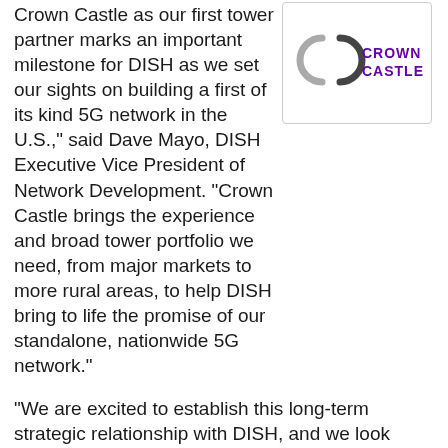Crown Castle as our first tower partner marks an important milestone for DISH as we set our sights on building a first of its kind 5G network in the U.S.," said Dave Mayo, DISH Executive Vice President of Network Development. "Crown Castle brings the experience and broad tower portfolio we need, from major markets to more rural areas, to help DISH bring to life the promise of our standalone, nationwide 5G network."
[Figure (logo): Crown Castle logo with two interlocking C shapes in gray and dark gray, followed by CROWN CASTLE text in purple]
"We are excited to establish this long-term strategic relationship with DISH, and we look forward to supporting their nationwide 5G network deployment for years to come," stated Jay Brown, Crown Castle's Chief Executive Officer. "DISH's 5G network buildout marks an important development for the industry, and we believe our ability to offer towers, small cells and fiber solutions at scale provides us the best opportunity to deliver value as we support their wireless infrastructure needs."